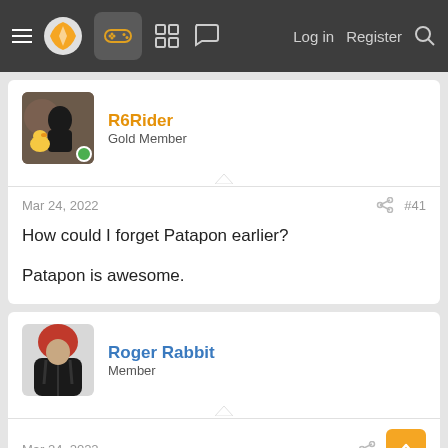Navigation bar with menu, logo, gamepad icon, grid icon, chat icon, Log in, Register, Search
R6Rider
Gold Member
Mar 24, 2022  #41
How could I forget Patapon earlier?

Patapon is awesome.
Roger Rabbit
Member
Mar 24, 2022
Parodius Collection
Everybody's Golf
Ridge Racers